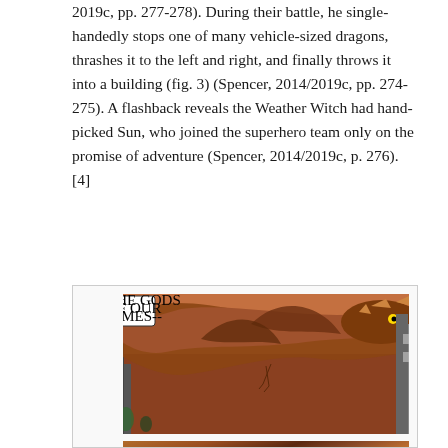2019c, pp. 277-278). During their battle, he single-handedly stops one of many vehicle-sized dragons, thrashes it to the left and right, and finally throws it into a building (fig. 3) (Spencer, 2014/2019c, pp. 274-275). A flashback reveals the Weather Witch had hand-picked Sun, who joined the superhero team only on the promise of adventure (Spencer, 2014/2019c, p. 276). [4]
[Figure (illustration): Two comic book panels showing a superhero battling vehicle-sized dragons. Top panel: a large dragon with spiky features in a cityscape with a speech bubble reading 'THE GODS OF OUR TIMES--'. Bottom panel: the battle continues with speech bubbles reading '--LIKE ALL GODS BEFORE THEM, CAN BE SOMETIMES RECKLESS' and 'SOMETIMES FOOLISH.']